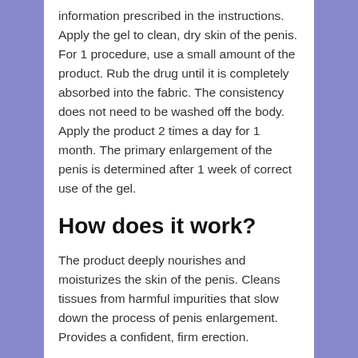information prescribed in the instructions. Apply the gel to clean, dry skin of the penis. For 1 procedure, use a small amount of the product. Rub the drug until it is completely absorbed into the fabric. The consistency does not need to be washed off the body. Apply the product 2 times a day for 1 month. The primary enlargement of the penis is determined after 1 week of correct use of the gel.
How does it work?
The product deeply nourishes and moisturizes the skin of the penis. Cleans tissues from harmful impurities that slow down the process of penis enlargement. Provides a confident, firm erection.